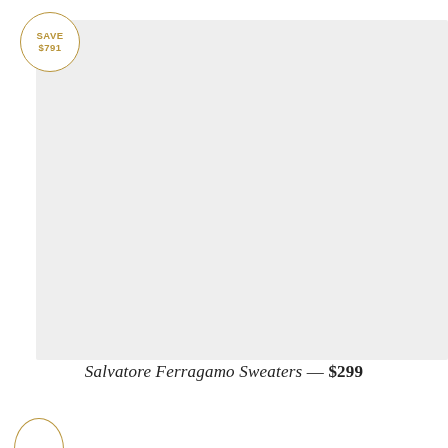[Figure (photo): Product image placeholder — light gray rectangle for Salvatore Ferragamo Sweaters product listing, with a circular gold 'SAVE $791' badge overlaid in the top-left corner]
Salvatore Ferragamo Sweaters — $299